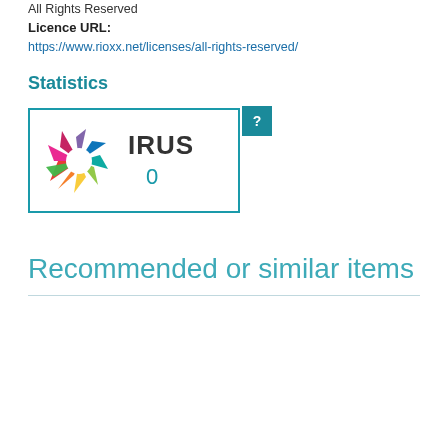All Rights Reserved
Licence URL:
https://www.rioxx.net/licenses/all-rights-reserved/
Statistics
[Figure (logo): IRUS statistics badge showing a colorful star/wheel logo with the text IRUS and a count of 0, with a teal question mark badge in the top right corner]
Recommended or similar items